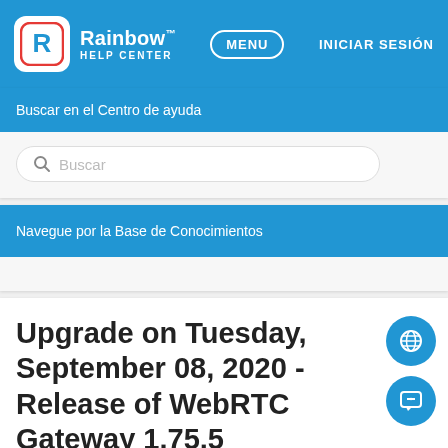Rainbow HELP CENTER | MENU | INICIAR SESIÓN
Buscar en el Centro de ayuda
Buscar
Navegue por la Base de Conocimientos
Upgrade on Tuesday, September 08, 2020 - Release of WebRTC Gateway 1.75.5